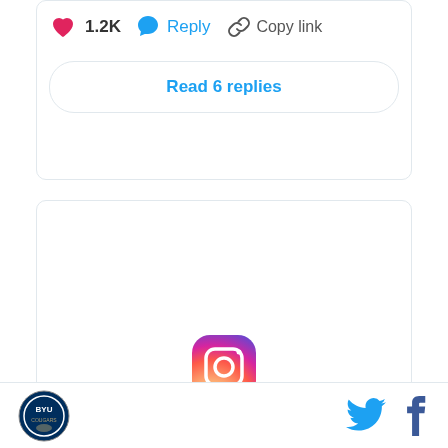[Figure (screenshot): Social media action bar with pink heart icon showing 1.2K likes, blue reply bubble icon with Reply label, and chain link icon with Copy link label]
Read 6 replies
[Figure (logo): Instagram logo icon (camera icon with gradient) and Instagram wordmark in script font]
BYU logo | Twitter bird icon | Facebook f icon